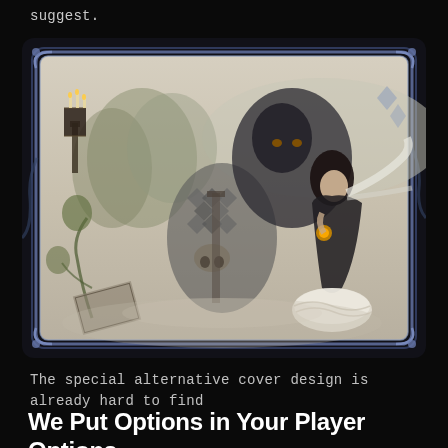suggest.
[Figure (illustration): Fantasy illustration inside a decorative card-like frame with ornate blue-grey border details. The scene depicts a dark-haired female figure in elaborate dark clothing holding something glowing, surrounded by fantastical elements including floating structures with candles on the left, stylized trees, large creature silhouettes, and flowing white elements. The art style is detailed painterly work in muted greys, blues, and beiges with soft washes.]
The special alternative cover design is already hard to find
We Put Options in Your Player Options